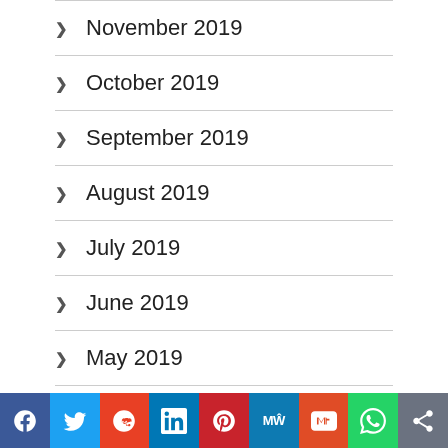November 2019
October 2019
September 2019
August 2019
July 2019
June 2019
May 2019
April 2019
Social share bar: Facebook, Twitter, Reddit, LinkedIn, Pinterest, MeWe, Mix, WhatsApp, Share